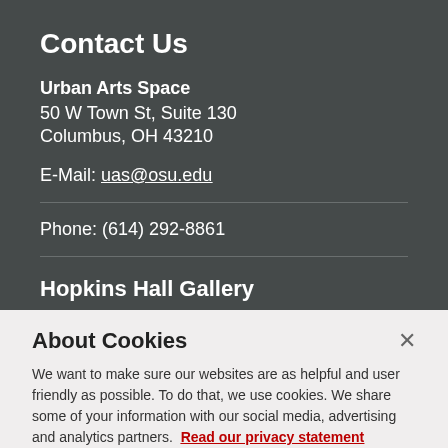Contact Us
Urban Arts Space
50 W Town St, Suite 130
Columbus, OH 43210
E-Mail: uas@osu.edu
Phone: (614) 292-8861
Hopkins Hall Gallery
About Cookies
We want to make sure our websites are as helpful and user friendly as possible. To do that, we use cookies. We share some of your information with our social media, advertising and analytics partners. Read our privacy statement